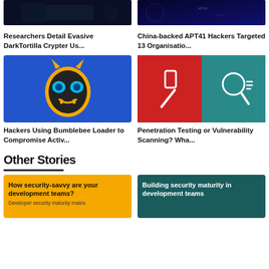[Figure (photo): Dark cybersecurity themed image with laptop/screens]
Researchers Detail Evasive DarkTortilla Crypter Us...
[Figure (photo): Dark blue cybersecurity image with APT41 branding and text]
China-backed APT41 Hackers Targeted 13 Organisatio...
[Figure (illustration): Bumblebee robot/transformer face icon on blue background]
Hackers Using Bumblebee Loader to Compromise Activ...
[Figure (illustration): Split image: red half with hammer icon, teal half with magnifying glass icon]
Penetration Testing or Vulnerability Scanning? Wha...
Other Stories
[Figure (photo): Yellow card with text: How security-savvy are your development teams?]
Developer security maturity matrix
[Figure (photo): Dark teal card with text: Building security maturity in development teams]